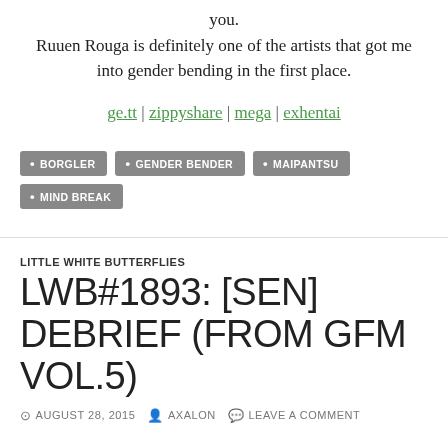you.
Ruuen Rouga is definitely one of the artists that got me into gender bending in the first place.
ge.tt | zippyshare | mega | exhentai
BORGLER
GENDER BENDER
MAIPANTSU
MIND BREAK
LITTLE WHITE BUTTERFLIES
LWB#1893: [SEN] DEBRIEF (FROM GFM VOL.5)
AUGUST 28, 2015  AXALON  LEAVE A COMMENT